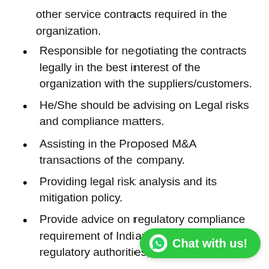other service contracts required in the organization.
Responsible for negotiating the contracts legally in the best interest of the organization with the suppliers/customers.
He/She should be advising on Legal risks and compliance matters.
Assisting in the Proposed M&A transactions of the company.
Providing legal risk analysis and its mitigation policy.
Provide advice on regulatory compliance requirement of Indian regulatory authorities, requirements for